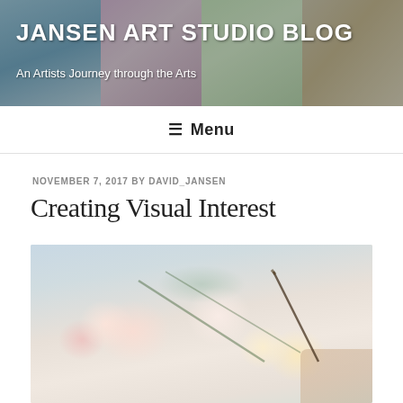JANSEN ART STUDIO BLOG
An Artists Journey through the Arts
≡ Menu
NOVEMBER 7, 2017 BY DAVID_JANSEN
Creating Visual Interest
[Figure (photo): Close-up photograph of an oil painting in progress showing pink and white peonies and flowers, with a paintbrush visible being held by a hand, soft pastel background]